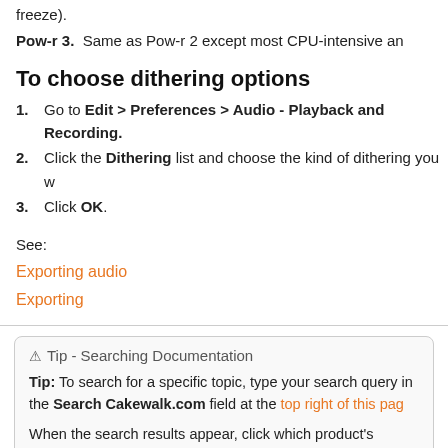freeze).
Pow-r 3. Same as Pow-r 2 except most CPU-intensive an
To choose dithering options
1. Go to Edit > Preferences > Audio - Playback and Recording.
2. Click the Dithering list and choose the kind of dithering you w
3. Click OK.
See:
Exporting audio
Exporting
Tip - Searching Documentation
Tip: To search for a specific topic, type your search query in the Search Cakewalk.com field at the top right of this pag
When the search results appear, click which product's documentation you would like to search to filter the sear